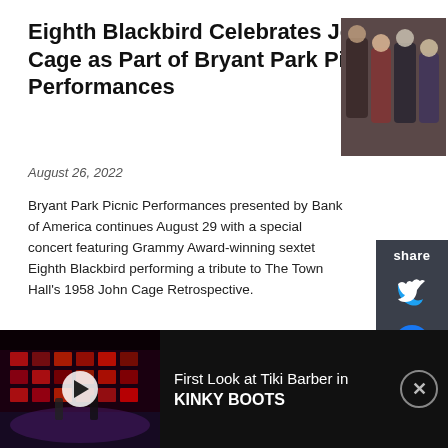Eighth Blackbird Celebrates John Cage as Part of Bryant Park Picnic Performances
August 26, 2022
[Figure (photo): Group photo of Eighth Blackbird ensemble members at a formal event]
Bryant Park Picnic Performances presented by Bank of America continues August 29 with a special concert featuring Grammy Award-winning sextet Eighth Blackbird performing a tribute to The Town Hall's 1958 John Cage Retrospective.
70 New Shows Showcased Over 4 Weeks At Emerging Artists Theatre's NEW WORK SERIES
August 25, 2022
[Figure (photo): Two performers in a theatrical pose for Emerging Artists Theatre]
[Figure (screenshot): Advertisement banner: First Look at Tiki Barber in KINKY BOOTS, with video thumbnail of a theatrical stage scene]